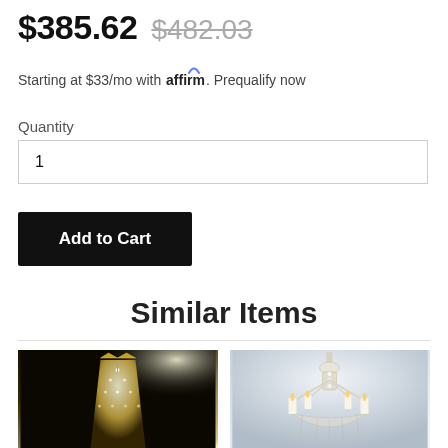$385.62  $482.03
Starting at $33/mo with affirm. Prequalify now
Quantity
1
Add to Cart
Similar Items
[Figure (photo): Crystal chandelier with gold crown top against a dark/black background]
[Figure (photo): Elegant white/crystal chandelier with lit candles against a gray background]